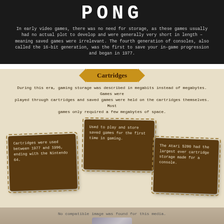PONG
In early video games, there was no need for storage, as these games usually had no actual plot to develop and were generally very short in length – meaning saved games were irrelevant. The fourth generation of consoles, also called the 16-bit generation, was the first to save your in-game progression and began in 1977.
Cartridges
During this era, gaming storage was described in megabits instead of megabytes. Games were played through cartridges and saved games were held on the cartridges themselves. Most games only required a few megabytes of space.
Cartridges were used between 1977 and 1996, ending with the Nintendo 64.
Used to play and store saved games for the first time in gaming.
The Atari 5200 had the largest ever cartridge storage made for a console.
No compatible image was found for this media.
[Figure (photo): A game cartridge (SNES style) shown with placeholder image, set against a beige/tan background]